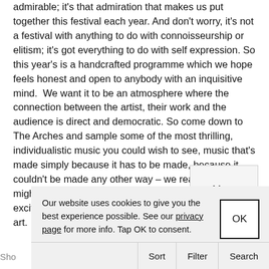admirable; it's that admiration that makes us put together this festival each year. And don't worry, it's not a festival with anything to do with connoisseurship or elitism; it's got everything to do with self expression. So this year's is a handcrafted programme which we hope feels honest and open to anybody with an inquisitive mind.  We want it to be an atmosphere where the connection between the artist, their work and the audience is direct and democratic. So come down to The Arches and sample some of the most thrilling, individualistic music you could wish to see, music that's made simply because it has to be made, because it couldn't be made any other way – we really think you might have an experience that makes you feel alive, excited and inspired. I guess that's all you ask of any art.
[Figure (screenshot): A UI button labeled 'More' with a light grey background and border]
[Figure (screenshot): Cookie consent banner: 'Our website uses cookies to give you the best experience possible. See our privacy page for more info. Tap OK to consent.' with an OK button]
[Figure (screenshot): Bottom navigation bar with Sort, Filter, Search options and a partially visible 'Sho' label on the left]